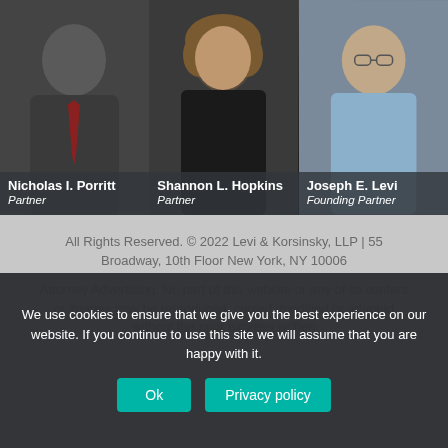[Figure (photo): Photo of Nicholas I. Porritt, Partner at Levi & Korsinsky, LLP — man in dark suit with crossed arms]
[Figure (photo): Photo of Shannon L. Hopkins, Partner at Levi & Korsinsky, LLP — woman with curly hair in dark clothing]
[Figure (photo): Photo of Joseph E. Levi, Founding Partner at Levi & Korsinsky, LLP — older man in light blue shirt with glasses]
All Rights Reserved. © 2022 Levi & Korsinsky, LLP | 55 Broadway, 10th Floor New York, NY 10006
Attorney Advertising. No part of this website or any of its content or images may be reproduced, copied, modified or adapted without the prior express written
We use cookies to ensure that we give you the best experience on our website. If you continue to use this site we will assume that you are happy with it.